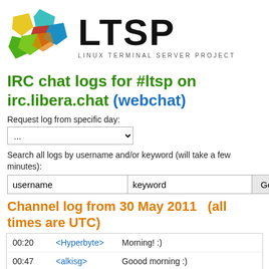[Figure (logo): LTSP logo with colorful geometric shapes (teal, yellow, red, green polygons) and the text 'LTSP' in large bold black letters with 'LINUX TERMINAL SERVER PROJECT' below]
IRC chat logs for #ltsp on irc.libera.chat (webchat)
Request log from specific day:
Search all logs by username and/or keyword (will take a few minutes):
Channel log from 30 May 2011   (all times are UTC)
| Time | Nick | Message |
| --- | --- | --- |
| 00:20 | <Hyperbyte> | Morning! :) |
| 00:47 | <alkisg> | Goood morning :) |